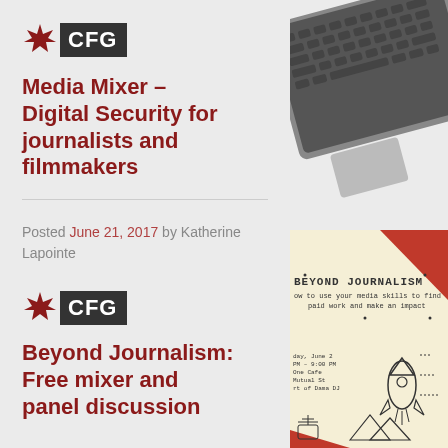[Figure (logo): CFG logo with maple leaf and dark box with letters CFG]
Media Mixer – Digital Security for journalists and filmmakers
Posted June 21, 2017 by Katherine Lapointe
[Figure (logo): CFG logo with maple leaf and dark box with letters CFG]
Beyond Journalism: Free mixer and panel discussion
[Figure (illustration): Stylized illustration of a laptop computer from above, dark keys on gray body]
[Figure (illustration): Beyond Journalism event poster - how to use your media skills to find paid work and make an impact, with rocket illustration]